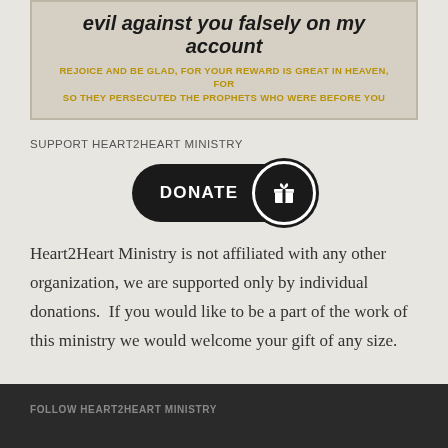[Figure (other): Decorative text box with italic bold heading and gold Bible verse text on tan background]
SUPPORT HEART2HEART MINISTRY
[Figure (other): Black pill-shaped donate button with gift icon circle on right]
Heart2Heart Ministry is not affiliated with any other organization, we are supported only by individual donations.  If you would like to be a part of the work of this ministry we would welcome your gift of any size.
FOLLOW HEART2HEART MINISTRY